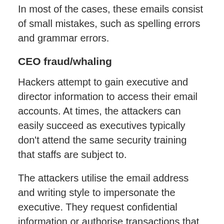In most of the cases, these emails consist of small mistakes, such as spelling errors and grammar errors.
CEO fraud/whaling
Hackers attempt to gain executive and director information to access their email accounts. At times, the attackers can easily succeed as executives typically don't attend the same security training that staffs are subject to.
The attackers utilise the email address and writing style to impersonate the executive. They request confidential information or authorise transactions that